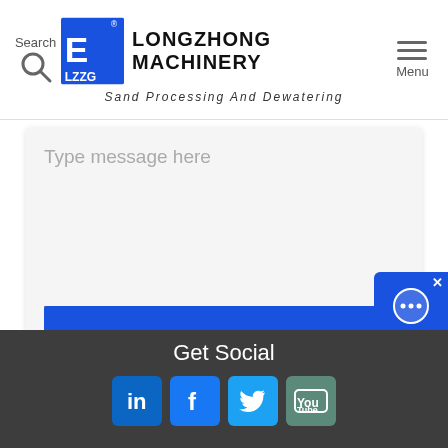Search | LONGZHONG MACHINERY Sand Processing And Dewatering | Menu
Type message here
GET IN TOUCH
[Figure (screenshot): Free Chat overlay button with chat bubble icon, X close button, and text 'Free Chat' on blue background]
Get Social
[Figure (infographic): Social media icons for LinkedIn, Facebook, Twitter, YouTube]